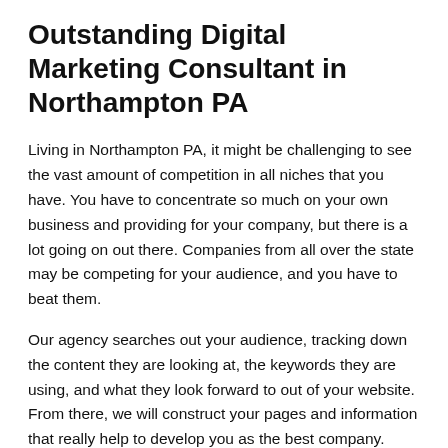Outstanding Digital Marketing Consultant in Northampton PA
Living in Northampton PA, it might be challenging to see the vast amount of competition in all niches that you have. You have to concentrate so much on your own business and providing for your company, but there is a lot going on out there. Companies from all over the state may be competing for your audience, and you have to beat them.
Our agency searches out your audience, tracking down the content they are looking at, the keywords they are using, and what they look forward to out of your website. From there, we will construct your pages and information that really help to develop you as the best company.
SEO is a job that requires your constant attention. Choosing a digital marketing consultant in Northampton PA will ease some of that work and make it easier for you to understand everything about marketing in the digital age.
Give our digital marketing consultant in Northampton PA a call today